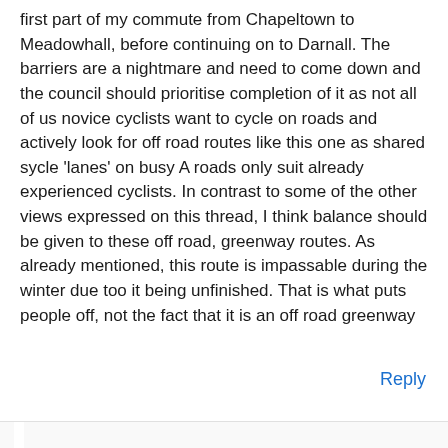first part of my commute from Chapeltown to Meadowhall, before continuing on to Darnall. The barriers are a nightmare and need to come down and the council should prioritise completion of it as not all of us novice cyclists want to cycle on roads and actively look for off road routes like this one as shared sycle 'lanes' on busy A roads only suit already experienced cyclists. In contrast to some of the other views expressed on this thread, I think balance should be given to these off road, greenway routes. As already mentioned, this route is impassable during the winter due too it being unfinished. That is what puts people off, not the fact that it is an off road greenway
Reply